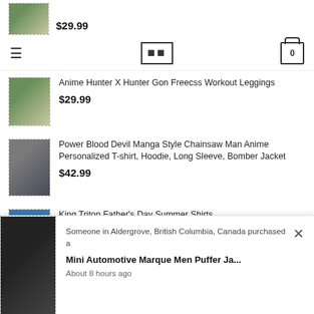≡  [logo]  [cart: 0]
$29.99
Anime Hunter X Hunter Gon Freecss Workout Leggings
$29.99
Power Blood Devil Manga Style Chainsaw Man Anime Personalized T-shirt, Hoodie, Long Sleeve, Bomber Jacket
$42.99
King Triton Father's Day Summer Shirts
$34.99
TOP RATED
Someone in Aldergrove, British Columbia, Canada purchased a
Mini Automotive Marque Men Puffer Ja...
About 8 hours ago